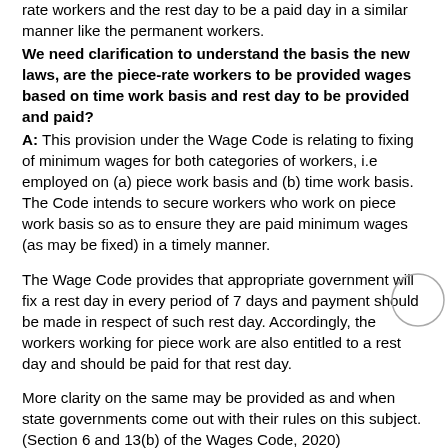rate workers and the rest day to be a paid day in a similar manner like the permanent workers.
We need clarification to understand the basis the new laws, are the piece-rate workers to be provided wages based on time work basis and rest day to be provided and paid?
A: This provision under the Wage Code is relating to fixing of minimum wages for both categories of workers, i.e employed on (a) piece work basis and (b) time work basis. The Code intends to secure workers who work on piece work basis so as to ensure they are paid minimum wages (as may be fixed) in a timely manner.

The Wage Code provides that appropriate government will fix a rest day in every period of 7 days and payment should be made in respect of such rest day. Accordingly, the workers working for piece work are also entitled to a rest day and should be paid for that rest day.

More clarity on the same may be provided as and when state governments come out with their rules on this subject. (Section 6 and 13(b) of the Wages Code, 2020)
[Figure (illustration): A circle outline (empty/hollow circle)]